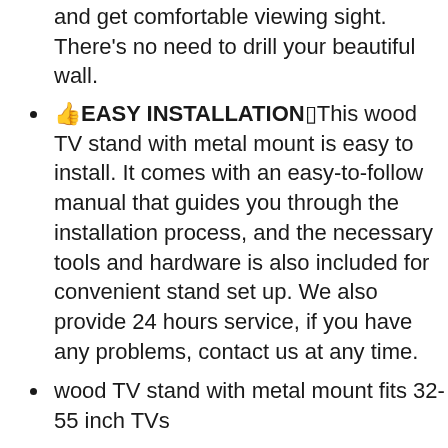and get comfortable viewing sight. There’s no need to drill your beautiful wall.
👍EASY INSTALLATION▯This wood TV stand with metal mount is easy to install. It comes with an easy-to-follow manual that guides you through the installation process, and the necessary tools and hardware is also included for convenient stand set up. We also provide 24 hours service, if you have any problems, contact us at any time.
wood TV stand with metal mount fits 32-55 inch TVs
2-in-1 design. Combination of floor TV stand and retro TV console
new entertainment center with TV mount, large storage space.